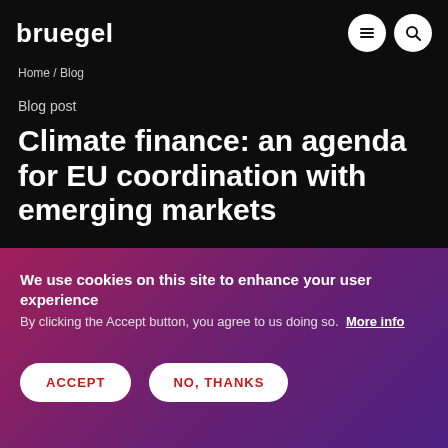bruegel
Home / Blog
Blog post
Climate finance: an agenda for EU coordination with emerging markets
We use cookies on this site to enhance your user experience
By clicking the Accept button, you agree to us doing so. More info
ACCEPT
NO, THANKS